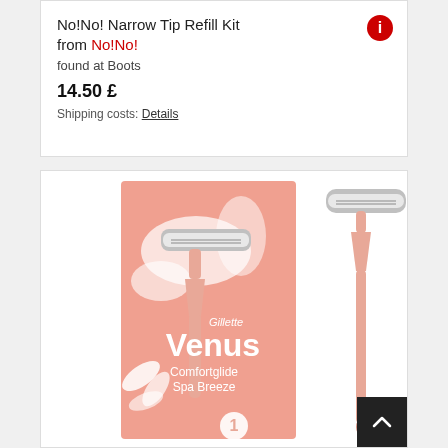No!No! Narrow Tip Refill Kit from No!No! found at Boots 14.50 £ Shipping costs: Details
[Figure (photo): Gillette Venus Comfortglide Spa Breeze razor product photo showing pink product box and razor handle]